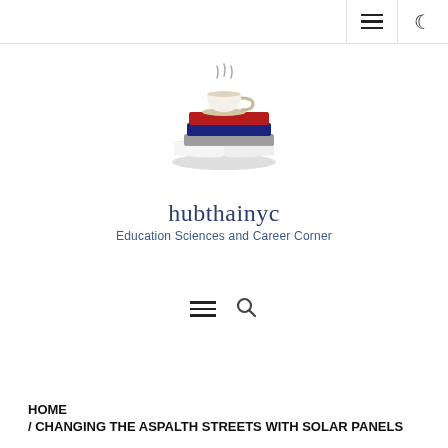hubthainyc site header with hamburger menu and dark mode toggle
[Figure (logo): Stack of books with a coffee cup on top, site logo for hubthainyc]
hubthainyc
Education Sciences and Career Corner
Navigation bar with hamburger menu and search icon
HOME / CHANGING THE ASPALTH STREETS WITH SOLAR PANELS